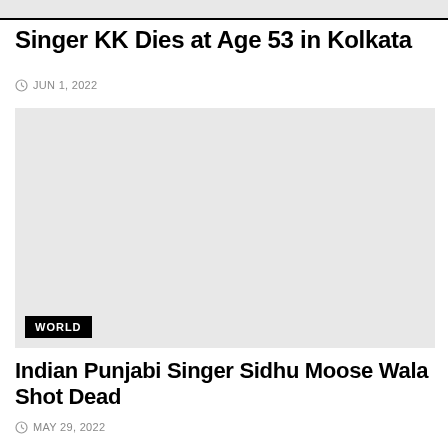[Figure (photo): Partial top of a news article image, cropped at top of page]
Singer KK Dies at Age 53 in Kolkata
JUN 1, 2022
[Figure (photo): News article image with WORLD category tag in bottom left corner]
Indian Punjabi Singer Sidhu Moose Wala Shot Dead
MAY 29, 2022